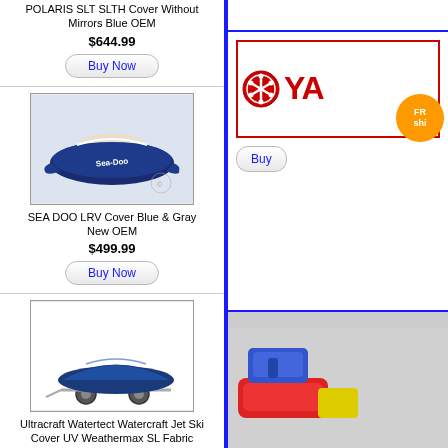POLARIS SLT SLTH Cover Without Mirrors Blue OEM
$644.99
Buy Now
[Figure (photo): SEA DOO LRV cover in blue and gray, shown on a watercraft]
SEA DOO LRV Cover Blue & Gray New OEM
$499.99
Buy Now
[Figure (photo): Ultracraft Watertect watercraft jet ski on trailer with blue cover]
Ultracraft Watertect Watercraft Jet Ski Cover UV Weathermax SL Fabric XW840UL
$463.95
Buy Now
[Figure (logo): Yamaha logo partial view - red Yamaha emblem and text YA...]
Buy
[Figure (photo): Partial view of colorful product - red, blue, yellow items visible at bottom right]